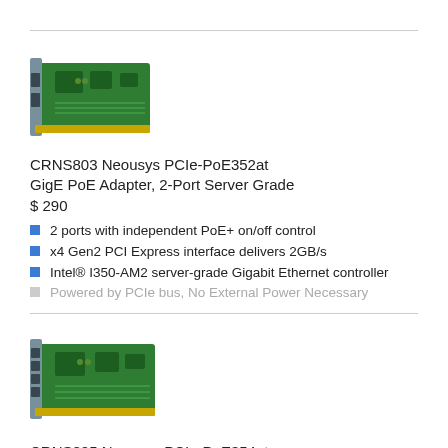[Figure (photo): PCIe network adapter card (CRNS803 Neousys PCIe-PoE352at), green circuit board with ports]
CRNS803 Neousys PCIe-PoE352at GigE PoE Adapter, 2-Port Server Grade
$ 290
2 ports with independent PoE+ on/off control
x4 Gen2 PCI Express interface delivers 2GB/s
Intel® I350-AM2 server-grade Gigabit Ethernet controller
Powered by PCIe bus, No External Power Necessary
[Figure (photo): PCIe network adapter card (CRNS805 Neousys PCIe-PoE354at), green circuit board with multiple ports]
CRNS805 Neousys PCIe-PoE354at